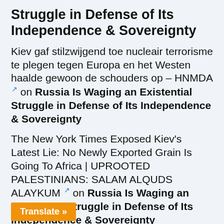Struggle in Defense of Its Independence & Sovereignty
Kiev gaf stilzwijgend toe nucleair terrorisme te plegen tegen Europa en het Westen haalde gewoon de schouders op – HNMDA on Russia Is Waging an Existential Struggle in Defense of Its Independence & Sovereignty
The New York Times Exposed Kiev's Latest Lie: No Newly Exported Grain Is Going To Africa | UPROOTED PALESTINIANS: SALAM ALQUDS ALAYKUM on Russia Is Waging an Existential Struggle in Defense of Its Independence & Sovereignty